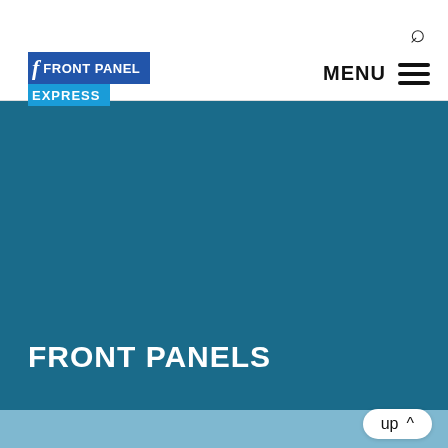[Figure (logo): Front Panel Express logo — blue rectangular banner with stylized 'f' and text FRONT PANEL EXPRESS]
MENU
[Figure (other): Teal/dark blue hero banner background image area]
FRONT PANELS
up ∧